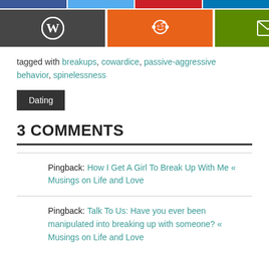[Figure (other): Social share buttons row 1: Facebook (blue), Twitter (light blue), Pinterest (red), LinkedIn (dark blue) - cropped at top]
[Figure (other): Social share buttons row 2: WordPress (dark grey with W logo), Reddit (orange with alien logo), Email (green with envelope icon)]
tagged with breakups, cowardice, passive-aggressive behavior, spinelessness
Dating
3 COMMENTS
Pingback: How I Get A Girl To Break Up With Me « Musings on Life and Love
Pingback: Talk To Us: Have you ever been manipulated into breaking up with someone? « Musings on Life and Love